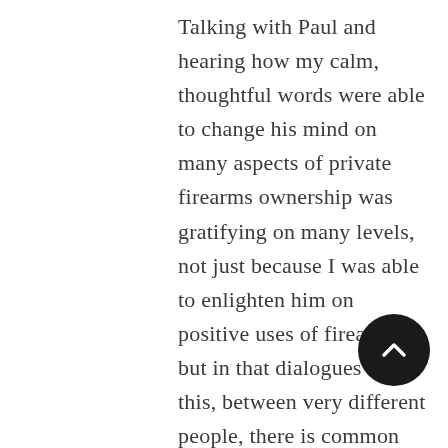Talking with Paul and hearing how my calm, thoughtful words were able to change his mind on many aspects of private firearms ownership was gratifying on many levels, not just because I was able to enlighten him on positive uses of firearms, but in that dialogues like this, between very different people, there is common ground between ALL of us, and that the rabid differences we perceive lie between us are not as extreme as we might think. Rational dialogue is certainly the path to solving many of our conflicts. I learned that I can be as stubborn and passionate about this subject, and I surprised myself by how emotional the topics made me during our dialogue. I learned by how deep...
[Figure (other): A circular dark/black scroll-to-top button with an upward-pointing chevron arrow icon, positioned in the lower right area of the page.]